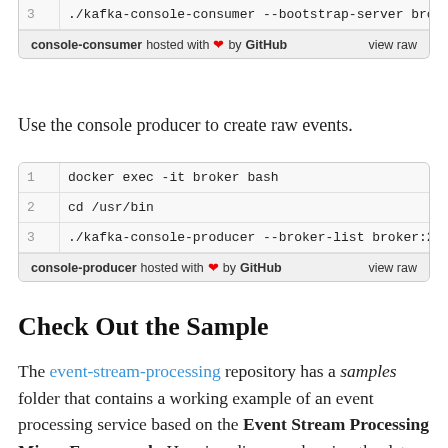[Figure (screenshot): Partial code block showing line 3: ./kafka-console-consumer --bootstrap-server broker:2... with footer: console-consumer hosted with heart by GitHub, view raw]
Use the console producer to create raw events.
[Figure (screenshot): Code block with 3 lines: 1) docker exec -it broker bash, 2) cd /usr/bin, 3) ./kafka-console-producer --broker-list broker:29092. Footer: console-producer hosted with heart by GitHub, view raw]
Check Out the Sample
The event-stream-processing repository has a samples folder that contains a working example of an event processing service based on the Event Stream Processing Micro-Framework. Here is a diagram showing the data pipeline used by the Sample Worker.